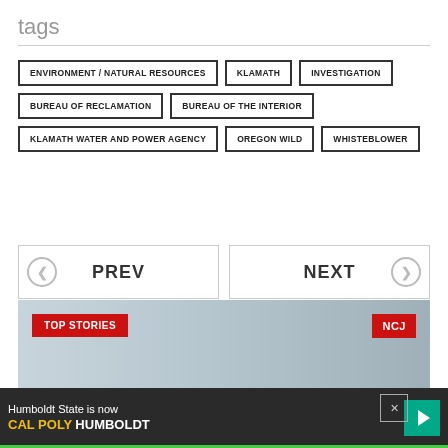tags
ENVIRONMENT / NATURAL RESOURCES
KLAMATH
INVESTIGATION
BUREAU OF RECLAMATION
BUREAU OF THE INTERIOR
KLAMATH WATER AND POWER AGENCY
OREGON WILD
WHISTEBLOWER
PREV
NEXT
[Figure (photo): Top Stories banner image with NCJ logo, showing a building/structure in foggy/misty conditions]
Humboldt State is now CAL POLY HUMBOLDT